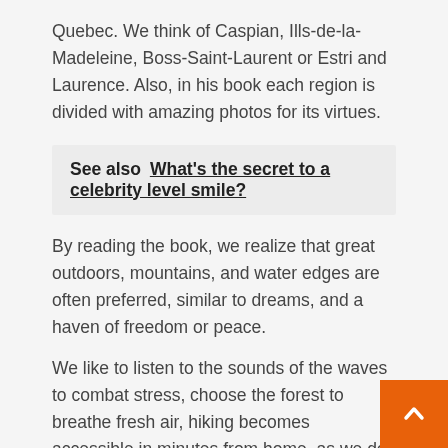Quebec. We think of Caspian, Ills-de-la-Madeleine, Boss-Saint-Laurent or Estri and Laurence. Also, in his book each region is divided with amazing photos for its virtues.
See also  What's the secret to a celebrity level smile?
By reading the book, we realize that great outdoors, mountains, and water edges are often preferred, similar to dreams, and a haven of freedom or peace.
We like to listen to the sounds of the waves to combat stress, choose the forest to breathe fresh air, hiking becomes accessible in minutes from home, as we do a variety of sports exercises.